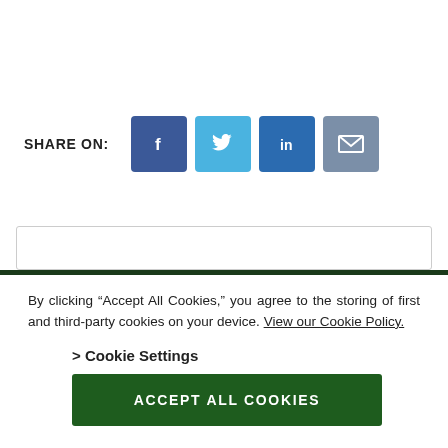SHARE ON: [Facebook] [Twitter] [LinkedIn] [Email]
By clicking “Accept All Cookies,” you agree to the storing of first and third-party cookies on your device. View our Cookie Policy.
> Cookie Settings
ACCEPT ALL COOKIES